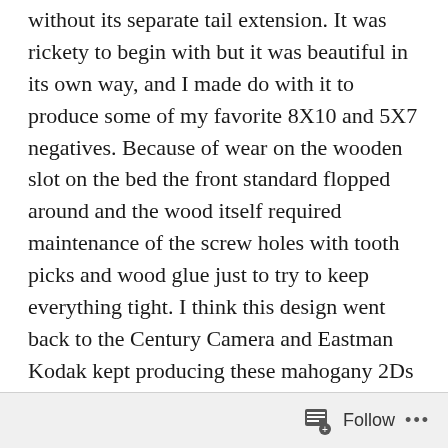without its separate tail extension. It was rickety to begin with but it was beautiful in its own way, and I made do with it to produce some of my favorite 8X10 and 5X7 negatives. Because of wear on the wooden slot on the bed the front standard flopped around and the wood itself required maintenance of the screw holes with tooth picks and wood glue just to try to keep everything tight. I think this design went back to the Century Camera and Eastman Kodak kept producing these mahogany 2Ds in 8X10 and 5X7 into the early 50's. Folmer Schwing and then Folmer Graflex apparently did the actual manufacturing.
Follow ···